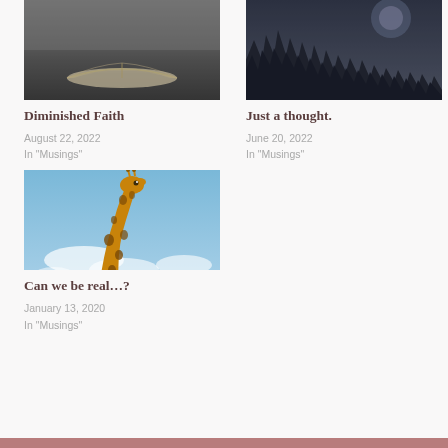[Figure (photo): An open book photographed from above in dark, moody lighting with a grey/dark background]
Diminished Faith
August 22, 2022
In "Musings"
[Figure (photo): Dark moody forest silhouette with pine trees against a stormy grey-blue sky]
Just a thought.
June 20, 2022
In "Musings"
[Figure (photo): A giraffe photographed from below looking down at the camera against a blue cloudy sky]
Can we be real…?
January 13, 2020
In "Musings"